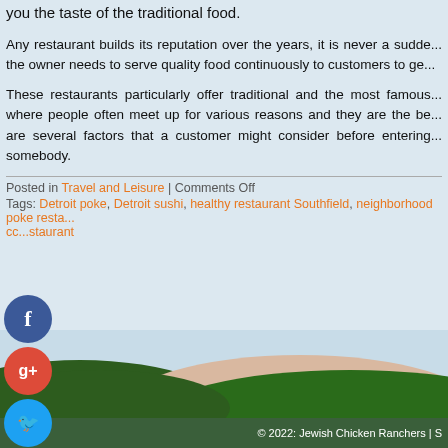you the taste of the traditional food.
Any restaurant builds its reputation over the years, it is never a sudden change, the owner needs to serve quality food continuously to customers to ge...
These restaurants particularly offer traditional and the most famous... where people often meet up for various reasons and they are the be... are several factors that a customer might consider before entering... somebody.
Posted in Travel and Leisure | Comments Off
Tags: Detroit poke, Detroit sushi, healthy restaurant Southfield, neighborhood poke resta... cc...staurant
[Figure (illustration): Rolling green hills landscape with a peach/beige hill in the center, dark green hills in foreground and background, light blue sky]
© 2022: Jewish Chicken Ranchers | S